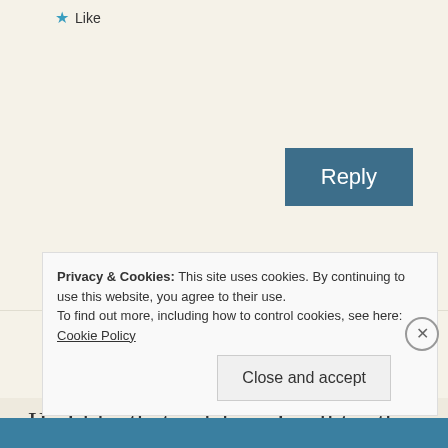Like
Reply
Aruna Panangipally
March 29, 2014 at 8:23 am
Ha I like that – debris. I will try this
Privacy & Cookies: This site uses cookies. By continuing to use this website, you agree to their use.
To find out more, including how to control cookies, see here: Cookie Policy
Close and accept